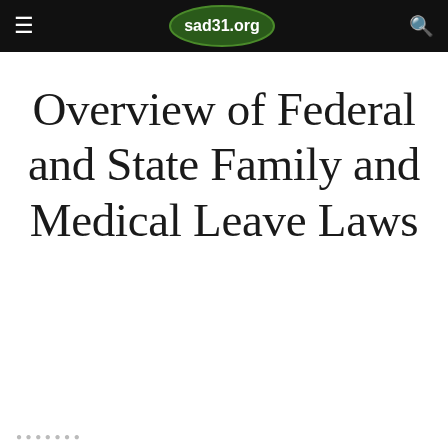sad31.org
Overview of Federal and State Family and Medical Leave Laws